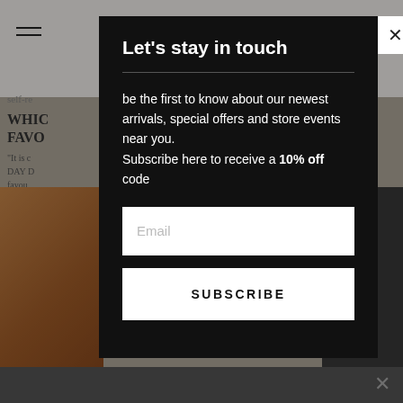[Figure (screenshot): Background webpage with navigation, text content, and product images partially visible behind a modal overlay]
Let's stay in touch
be the first to know about our newest arrivals, special offers and store events near you. Subscribe here to receive a 10% off code
Email
SUBSCRIBE